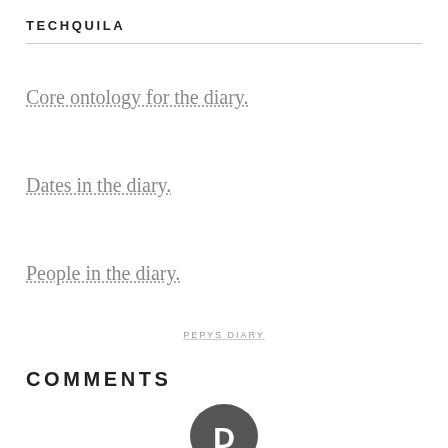TECHQUILA
Core ontology for the diary.
Dates in the diary.
People in the diary.
PEPYS DIARY
COMMENTS
[Figure (logo): Disqus logo - dark grey speech bubble with letter D inside]